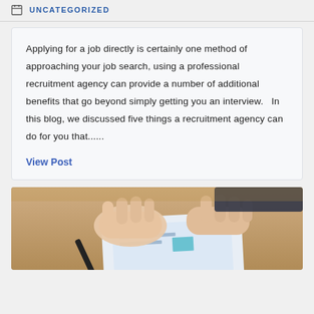UNCATEGORIZED
Applying for a job directly is certainly one method of approaching your job search, using a professional recruitment agency can provide a number of additional benefits that go beyond simply getting you an interview.   In this blog, we discussed five things a recruitment agency can do for you that......
View Post
[Figure (photo): Overhead view of a person's hands on a desk reviewing documents, with a pen nearby]